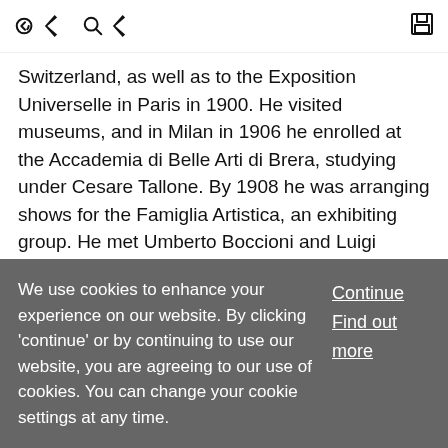[toolbar with back/search icons and save icon]
Switzerland, as well as to the Exposition Universelle in Paris in 1900. He visited museums, and in Milan in 1906 he enrolled at the Accademia di Belle Arti di Brera, studying under Cesare Tallone. By 1908 he was arranging shows for the Famiglia Artistica, an exhibiting group. He met Umberto Boccioni and Luigi Russolo, and t
... Show More
Article
Conti, (Umberto) Primo 🔒
Matthew Gale
We use cookies to enhance your experience on our website. By clicking 'continue' or by continuing to use our website, you are agreeing to our use of cookies. You can change your cookie settings at any time.
Continue
Find out more